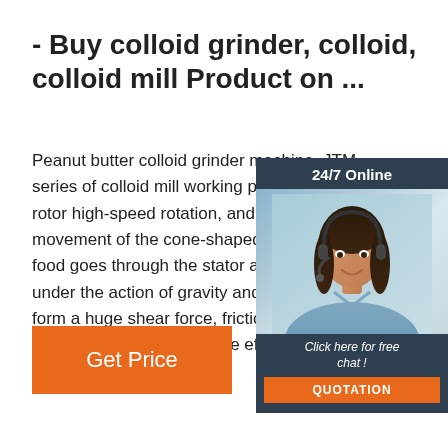- Buy colloid grinder, colloid, colloid mill Product on ...
Peanut butter colloid grinder machine, JTM series of colloid mill working principle rotor high-speed rotation, and form the movement of the cone-shaped stator, food goes through the stator and rotor under the action of gravity and centrifugal form a huge shear force, friction, high oscillation effect, to achieve effective s...
[Figure (illustration): Customer service chat widget with '24/7 Online' header, photo of woman with headset, 'Click here for free chat!' text, and orange QUOTATION button]
[Figure (other): Orange 'Get Price' button]
[Figure (logo): Orange TOP logo with dots forming upward arrow above the word TOP]